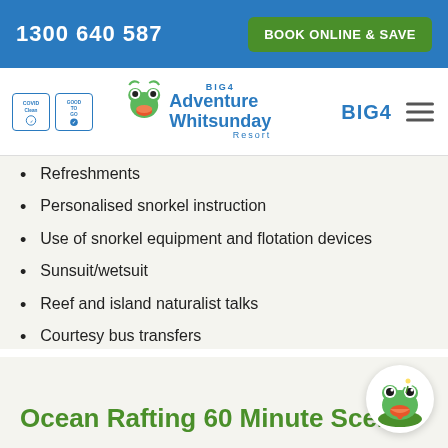1300 640 587   BOOK ONLINE & SAVE
[Figure (logo): BIG4 Adventure Whitsunday Resort logo with frog mascot and COVID Clean / Ready To Go badges]
Inner fringe reef snorkelling
Fresh tropical fruit platter
Refreshments
Personalised snorkel instruction
Use of snorkel equipment and flotation devices
Sunsuit/wetsuit
Reef and island naturalist talks
Courtesy bus transfers
[Figure (illustration): Cartoon frog mascot in circular badge]
Ocean Rafting 60 Minute Scenic